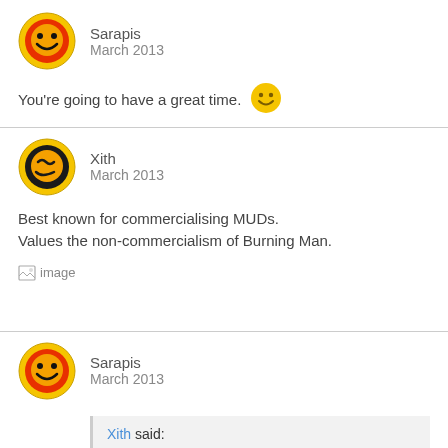Sarapis
March 2013
You're going to have a great time. 🙂
Xith
March 2013
Best known for commercialising MUDs.
Values the non-commercialism of Burning Man.
[Figure (photo): Broken image placeholder]
Sarapis
March 2013
Xith said: